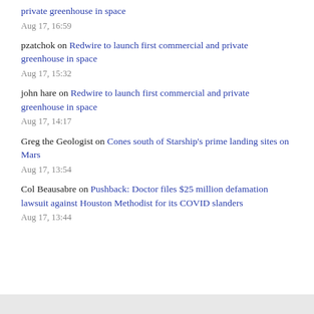private greenhouse in space
Aug 17, 16:59
pzatchok on Redwire to launch first commercial and private greenhouse in space
Aug 17, 15:32
john hare on Redwire to launch first commercial and private greenhouse in space
Aug 17, 14:17
Greg the Geologist on Cones south of Starship's prime landing sites on Mars
Aug 17, 13:54
Col Beausabre on Pushback: Doctor files $25 million defamation lawsuit against Houston Methodist for its COVID slanders
Aug 17, 13:44